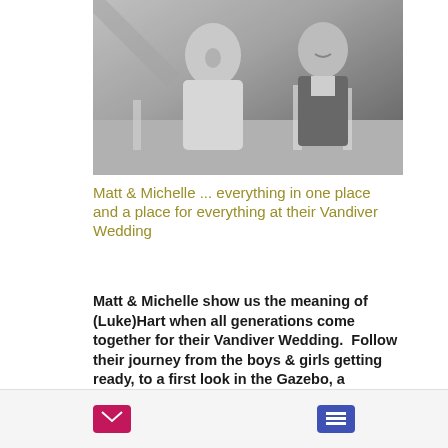[Figure (photo): Black and white wedding photo showing a bride with an open mouth expression of surprise/delight and a groom smiling, seated at a reception table with glasses and table settings visible]
Matt & Michelle ... everything in one place and a place for everything at their Vandiver Wedding
Matt & Michelle show us the meaning of (Luke)Hart when all generations come together for their Vandiver Wedding.  Follow their journey from the boys & girls getting ready, to a first look in the Gazebo, a beautiful Pavilion wedding, and a warm final kiss on the Grand Porch at the end of the